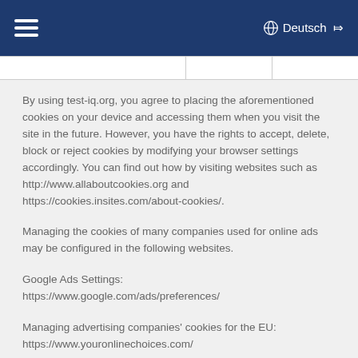☰  Deutsch ▾
By using test-iq.org, you agree to placing the aforementioned cookies on your device and accessing them when you visit the site in the future. However, you have the rights to accept, delete, block or reject cookies by modifying your browser settings accordingly. You can find out how by visiting websites such as http://www.allaboutcookies.org and https://cookies.insites.com/about-cookies/.
Managing the cookies of many companies used for online ads may be configured in the following websites.
Google Ads Settings:
https://www.google.com/ads/preferences/
Managing advertising companies' cookies for the EU:
https://www.youronlinechoices.com/